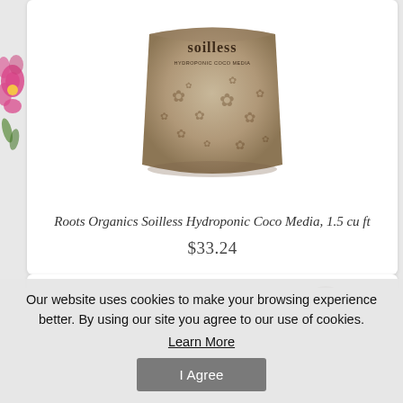[Figure (photo): Product image of Roots Organics Soilless Hydroponic Coco Media bag, tan/brown paper bag with dark floral pattern and brand name 'soilless HYDROPONIC COCO MEDIA' printed on it]
Roots Organics Soilless Hydroponic Coco Media, 1.5 cu ft
$33.24
[Figure (photo): Partial view of a second product card showing a dark round object and a brown circular badge with a plant pot icon]
Our website uses cookies to make your browsing experience better. By using our site you agree to our use of cookies.
Learn More
I Agree